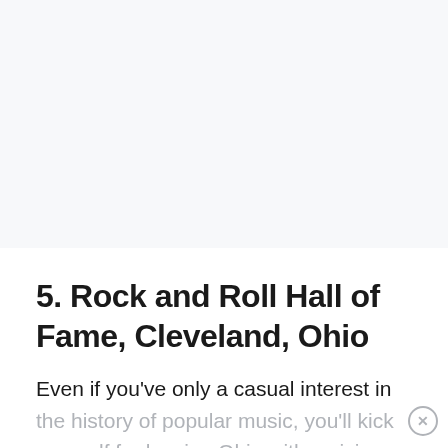5. Rock and Roll Hall of Fame, Cleveland, Ohio
Even if you've only a casual interest in the history of popular music, you'll kick yourself for leaving Ohio with out a visit...